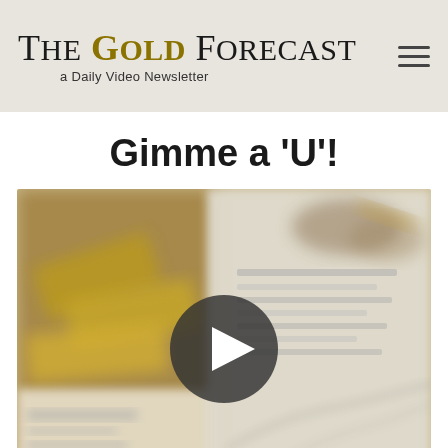The Gold Forecast — a Daily Video Newsletter
Gimme a 'U'!
[Figure (photo): Blurred background image of gold bars and financial charts with a video play button in the center]